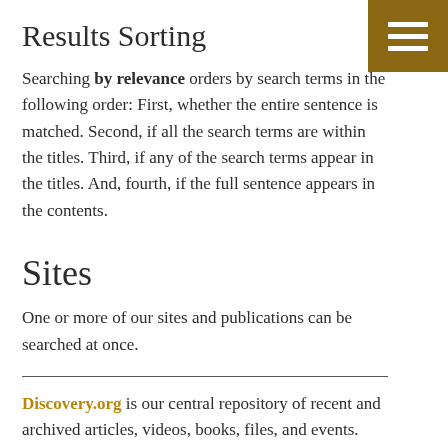Results Sorting
Searching by relevance orders by search terms in the following order: First, whether the entire sentence is matched. Second, if all the search terms are within the titles. Third, if any of the search terms appear in the titles. And, fourth, if the full sentence appears in the contents.
Sites
One or more of our sites and publications can be searched at once.
Discovery.org is our central repository of recent and archived articles, videos, books, files, and events.